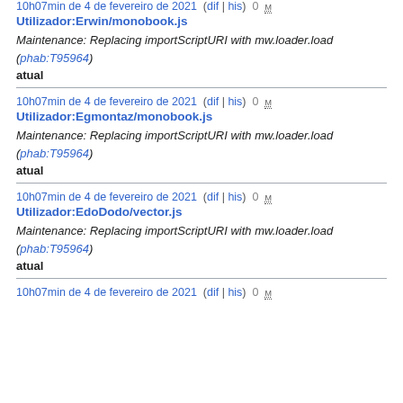10h07min de 4 de fevereiro de 2021  (dif | his)  0  m
Utilizador:Erwin/monobook.js
Maintenance: Replacing importScriptURI with mw.loader.load (phab:T95964)
atual
10h07min de 4 de fevereiro de 2021  (dif | his)  0  m
Utilizador:Egmontaz/monobook.js
Maintenance: Replacing importScriptURI with mw.loader.load (phab:T95964)
atual
10h07min de 4 de fevereiro de 2021  (dif | his)  0  m
Utilizador:EdoDodo/vector.js
Maintenance: Replacing importScriptURI with mw.loader.load (phab:T95964)
atual
10h07min de 4 de fevereiro de 2021  (dif | his)  0  m